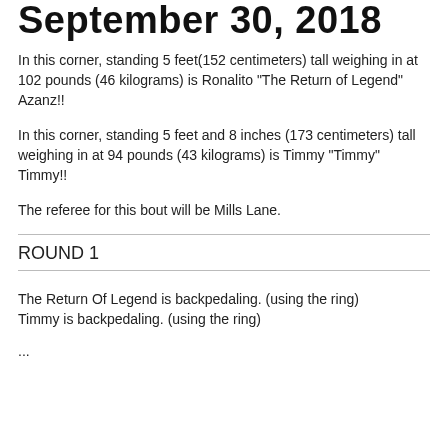September 30, 2018
In this corner, standing 5 feet(152 centimeters) tall weighing in at 102 pounds (46 kilograms) is Ronalito "The Return of Legend" Azanz!!
In this corner, standing 5 feet and 8 inches (173 centimeters) tall weighing in at 94 pounds (43 kilograms) is Timmy "Timmy" Timmy!!
The referee for this bout will be Mills Lane.
ROUND 1
The Return Of Legend is backpedaling. (using the ring)
Timmy is backpedaling. (using the ring)
...